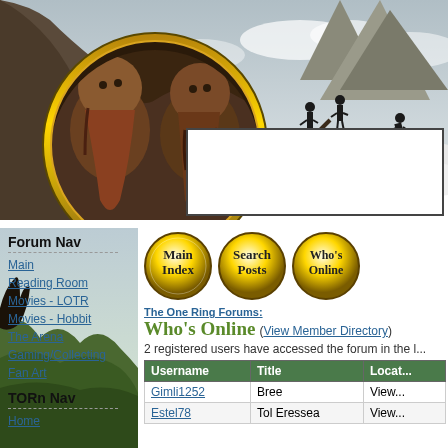[Figure (screenshot): Lord of the Rings / The Hobbit themed forum banner with dwarves in a circular medallion on left, snowy mountain landscape with silhouetted figures in background]
[Figure (other): Advertisement box with border, white background]
Forum Nav
Main
Reading Room
Movies - LOTR
Movies - Hobbit
The Arena
Gaming/Collecting
Fan Art
TORn Nav
Home
[Figure (other): Three golden circular navigation buttons: Main Index, Search Posts, Who's Online]
The One Ring Forums:
Who's Online (View Member Directory)
2 registered users have accessed the forum in the l...
| Username | Title | Locat... |
| --- | --- | --- |
| Gimli1252 | Bree | View... |
| Estel78 | Tol Eressea | View... |